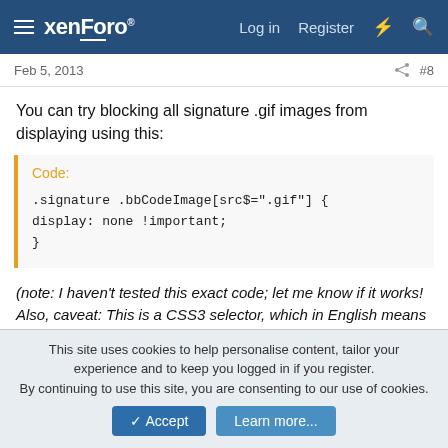xenForo — Log in  Register
Feb 5, 2013  #8
You can try blocking all signature .gif images from displaying using this:
Code:
.signature .bbCodeImage[src$=".gif"] {
display: none !important;
}
(note: I haven't tested this exact code; let me know if it works! Also, caveat: This is a CSS3 selector, which in English means that it works in IE7+ and all other modern browsers)
This site uses cookies to help personalise content, tailor your experience and to keep you logged in if you register.
By continuing to use this site, you are consenting to our use of cookies.